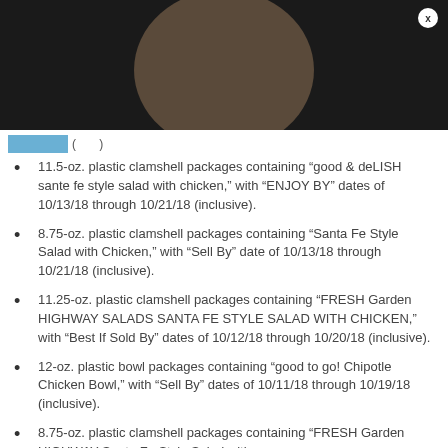[Figure (screenshot): Dark top bar with a brown circular shape (person's head silhouette) centered, and a small close button (x) in the top right corner]
11.5-oz. plastic clamshell packages containing “good & deLISH sante fe style salad with chicken,” with “ENJOY BY” dates of 10/13/18 through 10/21/18 (inclusive).
8.75-oz. plastic clamshell packages containing “Santa Fe Style Salad with Chicken,” with “Sell By” date of 10/13/18 through 10/21/18 (inclusive).
11.25-oz. plastic clamshell packages containing “FRESH Garden HIGHWAY SALADS SANTA FE STYLE SALAD WITH CHICKEN,” with “Best If Sold By” dates of 10/12/18 through 10/20/18 (inclusive).
12-oz. plastic bowl packages containing “good to go! Chipotle Chicken Bowl,” with “Sell By” dates of 10/11/18 through 10/19/18 (inclusive).
8.75-oz. plastic clamshell packages containing “FRESH Garden HIGHWAY Santa Fe Style Salad with…